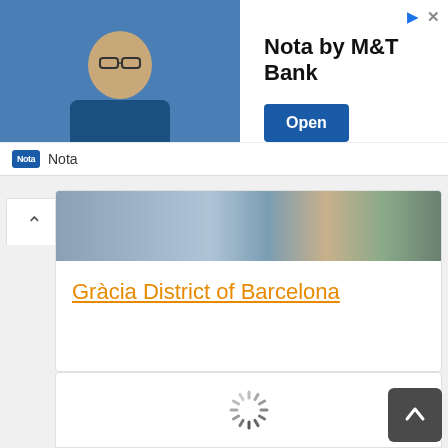[Figure (screenshot): Advertisement banner for 'Nota by M&T Bank' with a photo of a man in glasses and blue shirt, bold text 'Nota by M&T Bank', and a dark blue 'Open' button. Below is a footer bar with 'Nota' logo and label. Top right shows ad icons.]
[Figure (screenshot): A content card showing partial images at top and an orange hyperlink text 'Gràcia District of Barcelona'. A collapse arrow button is on the left.]
[Figure (screenshot): A loading card with a spinning loader icon in the center. A dark scroll-to-top arrow button is in the bottom right corner.]